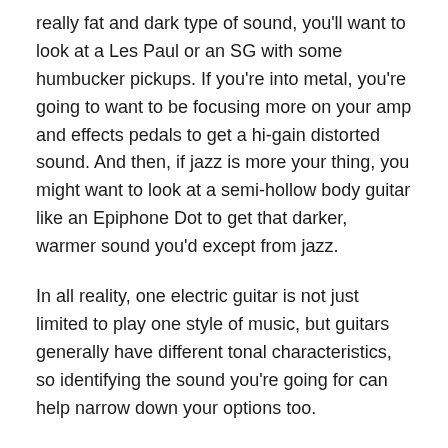really fat and dark type of sound, you'll want to look at a Les Paul or an SG with some humbucker pickups. If you're into metal, you're going to want to be focusing more on your amp and effects pedals to get a hi-gain distorted sound. And then, if jazz is more your thing, you might want to look at a semi-hollow body guitar like an Epiphone Dot to get that darker, warmer sound you'd except from jazz.
In all reality, one electric guitar is not just limited to play one style of music, but guitars generally have different tonal characteristics, so identifying the sound you're going for can help narrow down your options too.
What's your budget?
Before you even start looking at buying guitars, it's really important you set some sort of budget. What can you